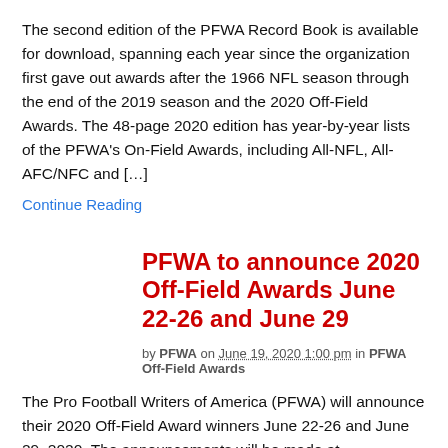The second edition of the PFWA Record Book is available for download, spanning each year since the organization first gave out awards after the 1966 NFL season through the end of the 2019 season and the 2020 Off-Field Awards. The 48-page 2020 edition has year-by-year lists of the PFWA's On-Field Awards, including All-NFL, All-AFC/NFC and […]
Continue Reading
PFWA to announce 2020 Off-Field Awards June 22-26 and June 29
by PFWA on June 19, 2020 1:00 pm in PFWA Off-Field Awards
The Pro Football Writers of America (PFWA) will announce their 2020 Off-Field Award winners June 22-26 and June 29, 2020. The announcements will be made at ProFootballWriters.org, through the PFWA's official Twitter feed